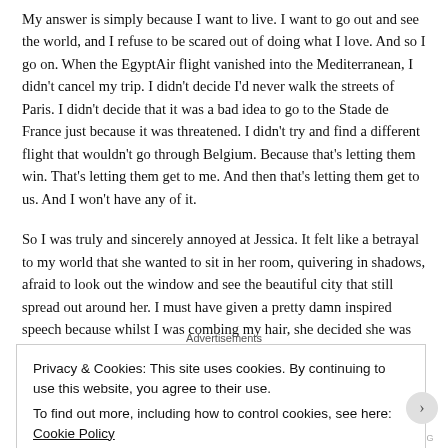My answer is simply because I want to live. I want to go out and see the world, and I refuse to be scared out of doing what I love. And so I go on. When the EgyptAir flight vanished into the Mediterranean, I didn't cancel my trip. I didn't decide I'd never walk the streets of Paris. I didn't decide that it was a bad idea to go to the Stade de France just because it was threatened. I didn't try and find a different flight that wouldn't go through Belgium. Because that's letting them win. That's letting them get to me. And then that's letting them get to us. And I won't have any of it.
So I was truly and sincerely annoyed at Jessica. It felt like a betrayal to my world that she wanted to sit in her room, quivering in shadows, afraid to look out the window and see the beautiful city that still spread out around her. I must have given a pretty damn inspired speech because whilst I was combing my hair, she decided she was joining me. Don't think I've really ever been more proud.
Advertisements
Privacy & Cookies: This site uses cookies. By continuing to use this website, you agree to their use.
To find out more, including how to control cookies, see here: Cookie Policy
Close and accept
AIRPORT-TIPS.AG